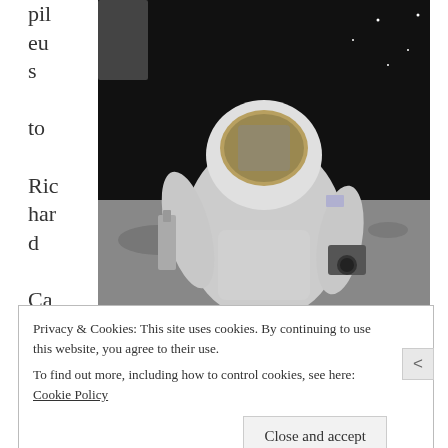pil eu s to Ric har d Ca mp bel l
[Figure (photo): Black and white photograph of an astronaut in a spacesuit on the lunar surface, holding equipment, with another astronaut reflected in the helmet visor. Taken on the Moon during an Apollo mission.]
Image via Wikipedia
for pointing this one out. Sands of Time is one
Privacy & Cookies: This site uses cookies. By continuing to use this website, you agree to their use.
To find out more, including how to control cookies, see here: Cookie Policy
Close and accept